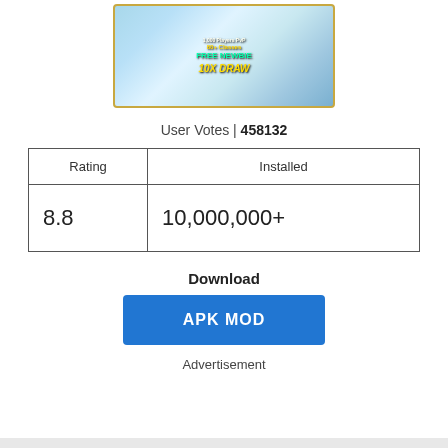[Figure (screenshot): Game promotional banner showing anime characters with text '1,000 Players PvP 80+ Classes FREE NEWBIE 10X DRAW']
User Votes | 458132
| Rating | Installed |
| --- | --- |
| 8.8 | 10,000,000+ |
Download
APK MOD
Advertisement